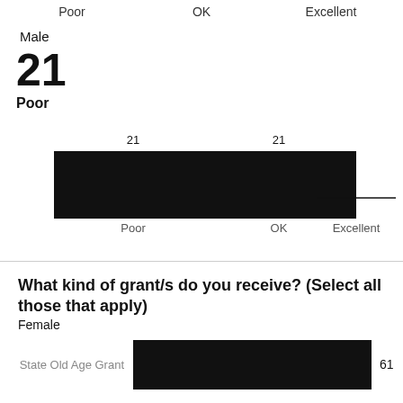[Figure (grouped-bar-chart): Male 21 Poor]
What kind of grant/s do you receive? (Select all those that apply)
Female
[Figure (bar-chart): What kind of grant/s do you receive? Female]